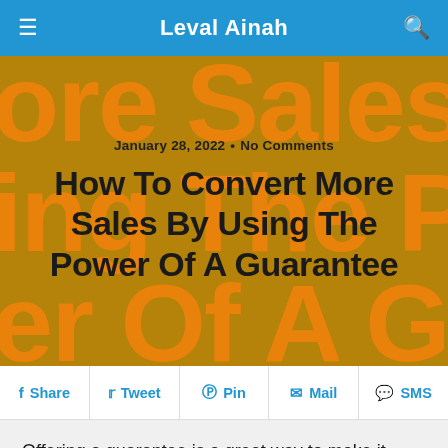Leval Ainah
[Figure (photo): Hero banner with large orange text 'More Sales By Using The Power' overlaid on dark gold background, with article title and date overlaid]
January 28, 2022 • No Comments
How To Convert More Sales By Using The Power Of A Guarantee
Share | Tweet | Pin | Mail | SMS
Offering a guarantee is a great way to make it easier for customers to buy. It takes the risk out of the purchase for them, as it gives them an out if they don't like the product. Psychologically, it also gives them confidence in your product – as why would you